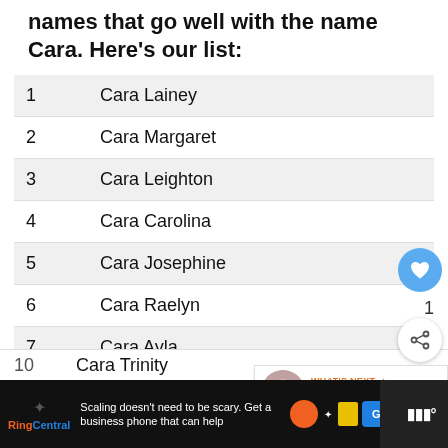names that go well with the name Cara. Here's our list:
1  Cara Lainey
2  Cara Margaret
3  Cara Leighton
4  Cara Carolina
5  Cara Josephine
6  Cara Raelyn
7  Cara Ayla
8  Cara Esther
9  Cara Katherine
10  Cara Trinity
WHAT'S NEXT → Newborn Leg Shaking: Wh...
Scaling doesn't need to be scary. Get a business phone that can help